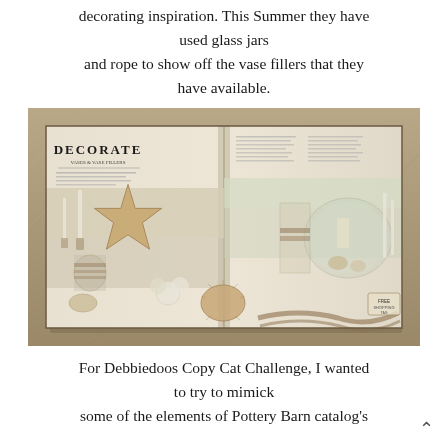decorating inspiration. This Summer they have used glass jars and rope to show off the vase fillers that they have available.
[Figure (photo): An open Pottery Barn catalog spread showing coastal/nautical decor items including glass jars, rope, starfish, sea shells, coral, candleholders, and other decorative objects arranged on a table, photographed on a stone surface.]
For Debbiedoos Copy Cat Challenge, I wanted to try to mimick some of the elements of Pottery Barn catalog's